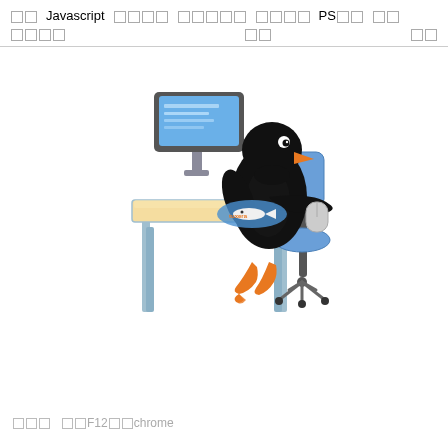□□ Javascript □□□□ □□□□□ □□□□ PS□□ □□ □□□□ □□ □□
[Figure (illustration): Cartoon illustration of a penguin sitting at a desk using a computer mouse, with a monitor showing a blue screen on the desk in front of it. The penguin is black with an orange beak and orange feet, sitting on a blue office chair.]
□□□ □□F12□□chrome